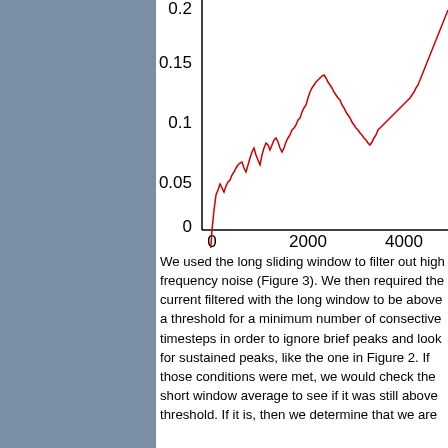[Figure (continuous-plot): Line chart (partial, top half visible) showing a noisy red waveform. Y-axis labels: 0, 0.05, 0.1, 0.15, 0.2. X-axis labels: 0, 2000, 4000. The red line shows high-frequency fluctuations with peaks around 0.15 near x=2000 and again near x=4000-5000.]
We used the long sliding window to filter out high frequency noise (Figure 3). We then required the current filtered with the long window to be above a threshold for a minimum number of consective timesteps in order to ignore brief peaks and look for sustained peaks, like the one in Figure 2. If those conditions were met, we would check the short window average to see if it was still above threshold. If it is, then we determine that we are